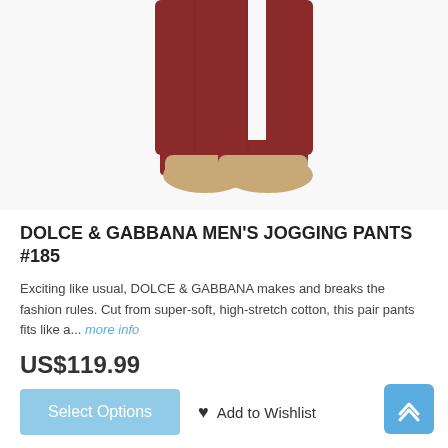[Figure (photo): Product photo showing the lower half of a male mannequin wearing dark red/maroon Dolce & Gabbana jogging pants, showing from the knee down with bare mannequin feet.]
DOLCE & GABBANA MEN'S JOGGING PANTS #185
Exciting like usual, DOLCE & GABBANA makes and breaks the fashion rules. Cut from super-soft, high-stretch cotton, this pair pants fits like a... more info
US$119.99
Select Options
Add to Wishlist